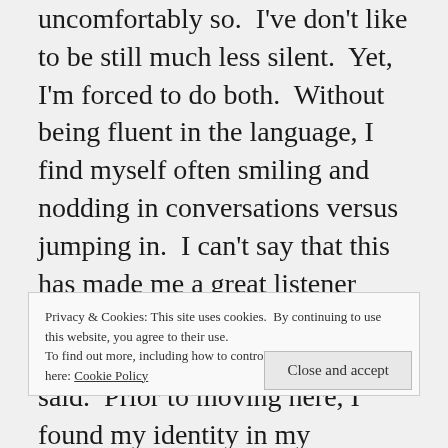uncomfortably so. I've don't like to be still much less silent. Yet, I'm forced to do both. Without being fluent in the language, I find myself often smiling and nodding in conversations versus jumping in. I can't say that this has made me a great listener because that would assume I always understand what is being said. Prior to moving here, I found my identity in my busyness. Yet here, it's a lot harder to do that when I'm figuring my way around culture and
Privacy & Cookies: This site uses cookies. By continuing to use this website, you agree to their use.
To find out more, including how to control cookies, see here: Cookie Policy
Close and accept